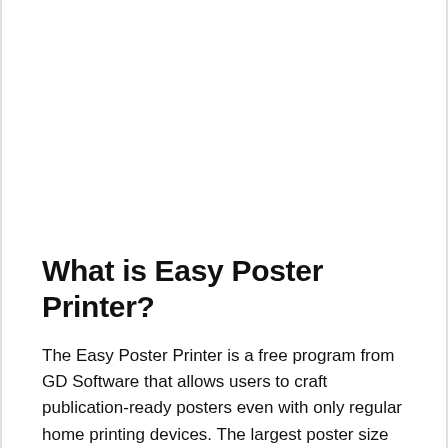What is Easy Poster Printer?
The Easy Poster Printer is a free program from GD Software that allows users to craft publication-ready posters even with only regular home printing devices. The largest poster size